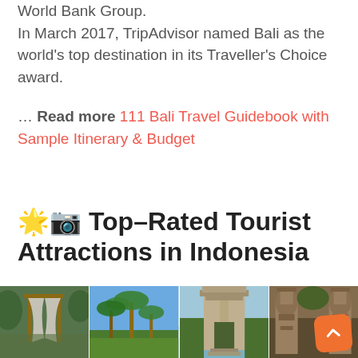World Bank Group.
In March 2017, TripAdvisor named Bali as the world's top destination in its Traveller's Choice award.
… Read more 111 Bali Travel Guidebook with Sample Itinerary & Budget
🌟📷 Top-Rated Tourist Attractions in Indonesia
[Figure (photo): Strip of four travel photos showing Bali/Indonesia tourist attractions including a garden pavilion, tropical trees, a stone temple gate, and temple statues]